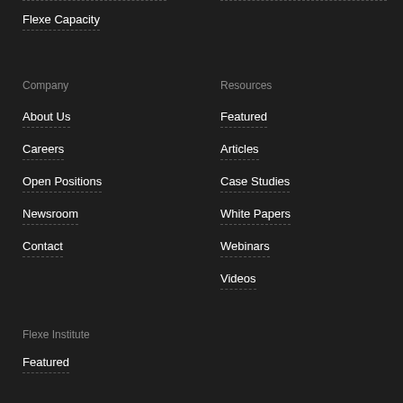Flexe Capacity
Company
About Us
Careers
Open Positions
Newsroom
Contact
Resources
Featured
Articles
Case Studies
White Papers
Webinars
Videos
Flexe Institute
Featured